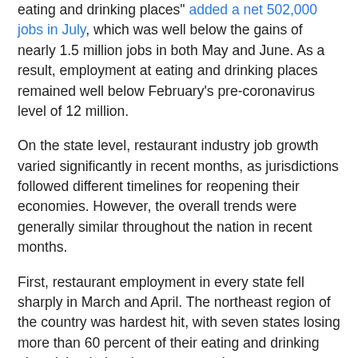eating and drinking places" added a net 502,000 jobs in July, which was well below the gains of nearly 1.5 million jobs in both May and June. As a result, employment at eating and drinking places remained well below February's pre-coronavirus level of 12 million.
On the state level, restaurant industry job growth varied significantly in recent months, as jurisdictions followed different timelines for reopening their economies. However, the overall trends were generally similar throughout the nation in recent months.
First, restaurant employment in every state fell sharply in March and April. The northeast region of the country was hardest hit, with seven states losing more than 60 percent of their eating and drinking place jobs during those two months.
Second, restaurant employment levels in every state began to recover in May, as local economies